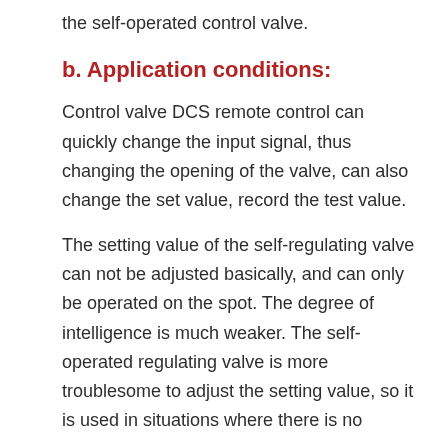the self-operated control valve.
b. Application conditions:
Control valve DCS remote control can quickly change the input signal, thus changing the opening of the valve, can also change the set value, record the test value.
The setting value of the self-regulating valve can not be adjusted basically, and can only be operated on the spot. The degree of intelligence is much weaker. The self-operated regulating valve is more troublesome to adjust the setting value, so it is used in situations where there is no